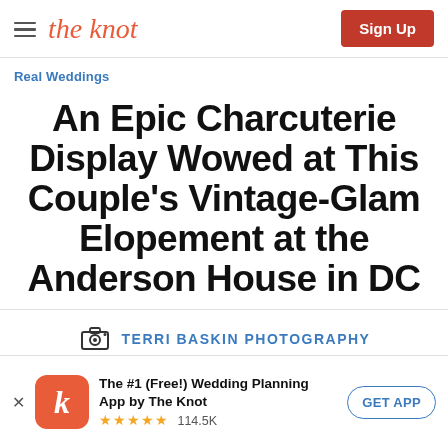the knot | Sign Up
Real Weddings
An Epic Charcuterie Display Wowed at This Couple's Vintage-Glam Elopement at the Anderson House in DC
TERRI BASKIN PHOTOGRAPHY
The #1 (Free!) Wedding Planning App by The Knot ★★★★★ 114.5K GET APP